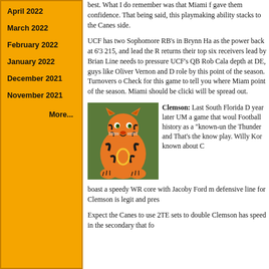April 2022
March 2022
February 2022
January 2022
December 2021
November 2021
More...
UCF has two Sophomore RB's in Brynn Ha... as the power back at 6'3 215, and lead the R... returns their top six receivers lead by Brian... Line needs to pressure UCF's QB Rob Cala... depth at DE, guys like Oliver Vernon and D... role by this point of the season. Turnovers o... Check for this game to tell you where Miam... point of the season. Miami should be clicki... will be spread out.
[Figure (photo): Clemson Tigers mascot in orange tiger costume with striped bodysuit, crouching]
Clemson: Last South Florida D... year later UM a... game that woul... Football history... as a "known-un... the Thunder and... That's the know... play. Willy Kor... known about C... boast a speedy WR core with Jacoby Ford m... defensive line for Clemson is legit and pres...
Expect the Canes to use 2TE sets to double... Clemson has speed in the secondary that fo...